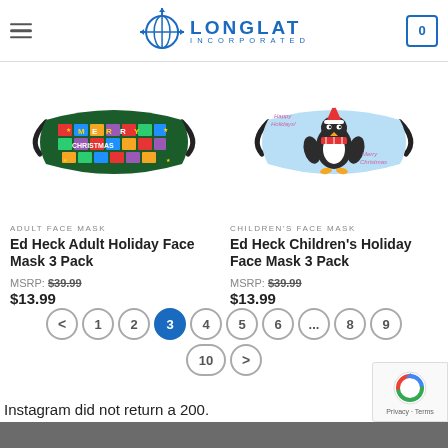LONGLAT INCORPORATED
[Figure (photo): Colorful holiday face mask with Merry Christmas text in multicolored blocks with stars]
ADULT FACE MASK
Ed Heck Adult Holiday Face Mask 3 Pack
MSRP: $39.99
$13.99
[Figure (photo): Light blue holiday face mask with penguin wearing Santa hat and scarf, Merry Christmas text]
CHILDREN'S FACE MASK
Ed Heck Children's Holiday Face Mask 3 Pack
MSRP: $39.99
$13.99
< 1 2 3 4 5 6 ... 8 9 10 >
Instagram did not return a 200.